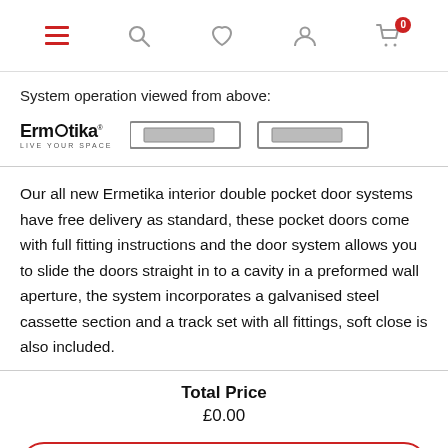Navigation bar with hamburger menu, search, wishlist, account, and cart (0) icons
System operation viewed from above:
[Figure (illustration): Ermetika logo and a diagram showing a double pocket door system viewed from above — two door panels depicted as rectangles sliding into wall cavities on either side]
Our all new Ermetika interior double pocket door systems have free delivery as standard, these pocket doors come with full fitting instructions and the door system allows you to slide the doors straight in to a cavity in a preformed wall aperture, the system incorporates a galvanised steel cassette section and a track set with all fittings, soft close is also included.
Total Price
£0.00
Choose product